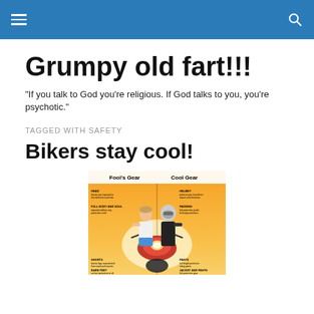Grumpy old fart!!!
"If you talk to God you're religious. If God talks to you, you're psychotic."
TAGGED WITH SAFETY
Bikers stay cool!
[Figure (infographic): Infographic showing split image of a motorcyclist: left side labeled 'Fool's Gear' showing rider without protective gear, right side labeled 'Cool Gear' showing rider with full helmet and protective gear. Orange and yellow background with text annotations pointing to different body parts.]